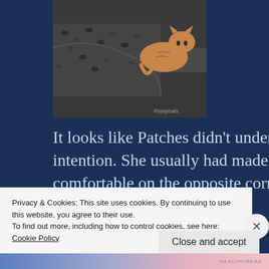[Figure (photo): A cat (Patches) lying on a dark sofa/couch with a spotted/leopard print blanket. Watermark text 'Pussycats' visible in bottom right of image.]
It looks like Patches didn't understand my intention. She usually had made herself comfortable on the opposite corner, but she "turned the tables" on me
Privacy & Cookies: This site uses cookies. By continuing to use this website, you agree to their use.
To find out more, including how to control cookies, see here: Cookie Policy
Close and accept
HEALTHYREAD